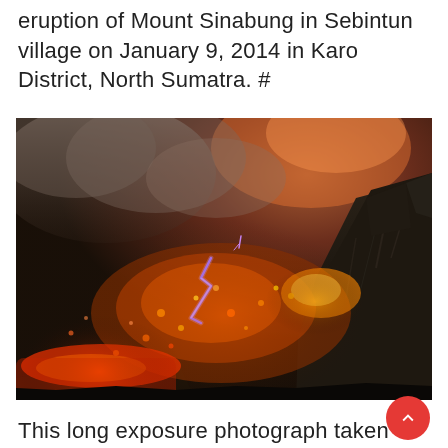eruption of Mount Sinabung in Sebintun village on January 9, 2014 in Karo District, North Sumatra. #
[Figure (photo): A nighttime long exposure photograph of Mount Sinabung erupting, showing glowing lava flows, ash clouds, and a bolt of purple lightning against a dark sky.]
This long exposure photograph taken before dawn on October 14, 2014 shows sparks of lightning, scorching lava flow and giant ash clouds released from the crater during the eruption of Mount Sinabung in